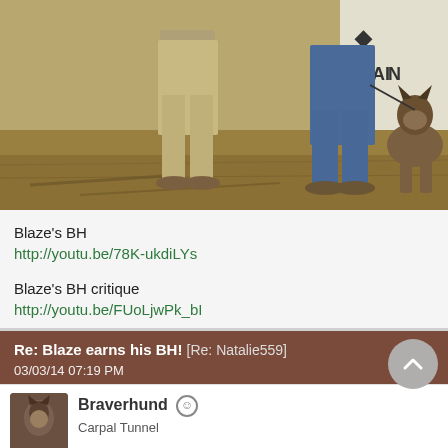[Figure (photo): Outdoor photo showing legs of two people standing on dry grass in front of a white banner/sign partially reading 'TRAIN'. A German Shepherd dog sits on the right side of the photo.]
Blaze's BH
http://youtu.be/78K-ukdiLYs
Blaze's BH critique
http://youtu.be/FUoLjwPk_bI
Re: Blaze earns his BH! [Re: Natalie559]
03/03/14 07:19 PM
Braverhund
Carpal Tunnel